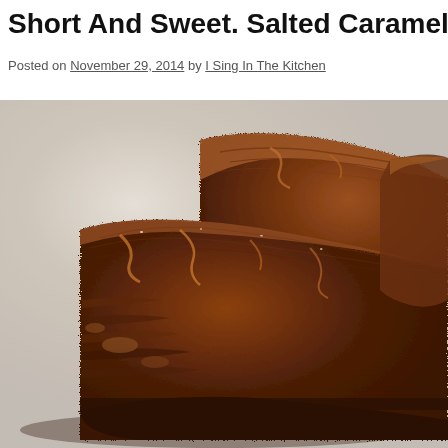Short And Sweet. Salted Caramel Browni
Posted on November 29, 2014 by I Sing In The Kitchen
[Figure (photo): Close-up photo of rich, fudgy chocolate brownies stacked on a white surface. The brownies have a shiny crackled top and dense, moist interior texture visible from the cross-section.]